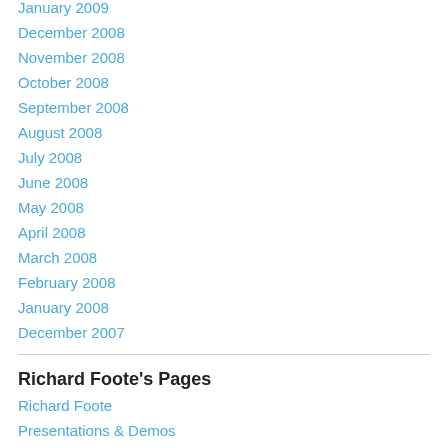January 2009
December 2008
November 2008
October 2008
September 2008
August 2008
July 2008
June 2008
May 2008
April 2008
March 2008
February 2008
January 2008
December 2007
Richard Foote's Pages
Richard Foote
Presentations & Demos